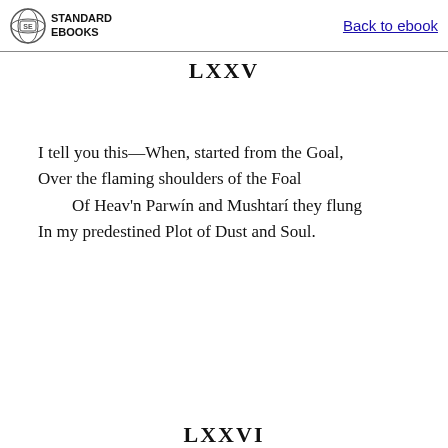STANDARD EBOOKS | Back to ebook
LXXV
I tell you this—When, started from the Goal,
Over the flaming shoulders of the Foal
    Of Heav'n Parwín and Mushtarí they flung
In my predestined Plot of Dust and Soul.
LXXVI